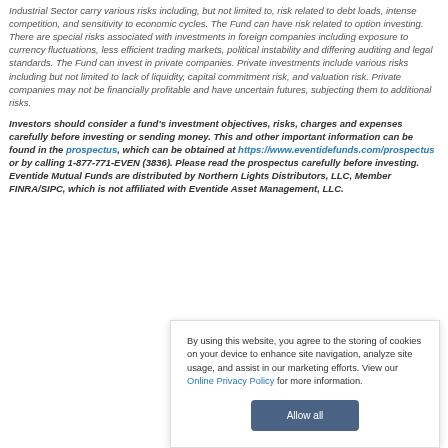Industrial Sector carry various risks including, but not limited to, risk related to debt loads, intense competition, and sensitivity to economic cycles. The Fund can have risk related to option investing. There are special risks associated with investments in foreign companies including exposure to currency fluctuations, less efficient trading markets, political instability and differing auditing and legal standards. The Fund can invest in private companies. Private investments include various risks including but not limited to lack of liquidity, capital commitment risk, and valuation risk. Private companies may not be financially profitable and have uncertain futures, subjecting them to additional risks.
Investors should consider a fund's investment objectives, risks, charges and expenses carefully before investing or sending money. This and other important information can be found in the prospectus, which can be obtained at https://www.eventidefunds.com/prospectus or by calling 1-877-771-EVEN (3836). Please read the prospectus carefully before investing. Eventide Mutual Funds are distributed by Northern Lights Distributors, LLC, Member FINRA/SIPC, which is not affiliated with Eventide Asset Management, LLC.
By using this website, you agree to the storing of cookies on your device to enhance site navigation, analyze site usage, and assist in our marketing efforts. View our Online Privacy Policy for more information.